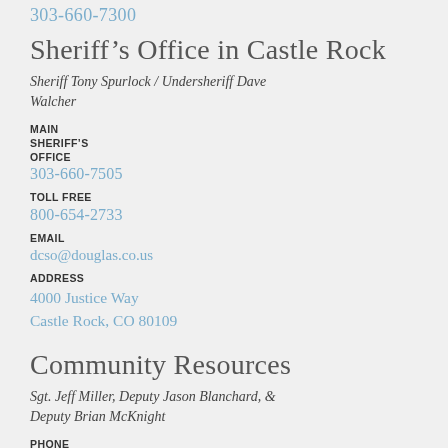303-660-7300
Sheriff’s Office in Castle Rock
Sheriff Tony Spurlock / Undersheriff Dave Walcher
MAIN SHERIFF’S OFFICE
303-660-7505
TOLL FREE
800-654-2733
EMAIL
dcso@douglas.co.us
ADDRESS
4000 Justice Way
Castle Rock, CO 80109
Community Resources
Sgt. Jeff Miller, Deputy Jason Blanchard, & Deputy Brian McKnight
PHONE